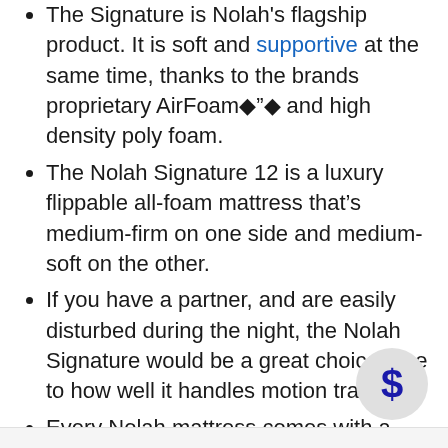The Signature is Nolah's flagship product. It is soft and supportive at the same time, thanks to the brands proprietary AirFoam◆”◆ and high density poly foam.
The Nolah Signature 12 is a luxury flippable all-foam mattress that’s medium-firm on one side and medium-soft on the other.
If you have a partner, and are easily disturbed during the night, the Nolah Signature would be a great choice, due to how well it handles motion transfer.
Every Nolah mattress comes with a 120 night sleep trial, and free shipping.